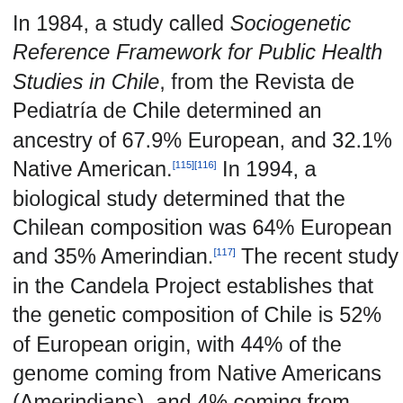In 1984, a study called Sociogenetic Reference Framework for Public Health Studies in Chile, from the Revista de Pediatría de Chile determined an ancestry of 67.9% European, and 32.1% Native American.[115][116] In 1994, a biological study determined that the Chilean composition was 64% European and 35% Amerindian.[117] The recent study in the Candela Project establishes that the genetic composition of Chile is 52% of European origin, with 44% of the genome coming from Native Americans (Amerindians), and 4% coming from Africa, making Chile a primarily mestizo country with traces of African descent present in half of the population.[118] Another genetic study conducted by the University of Brasilia in several American countries shows a similar genetic composition for Chile, with a European